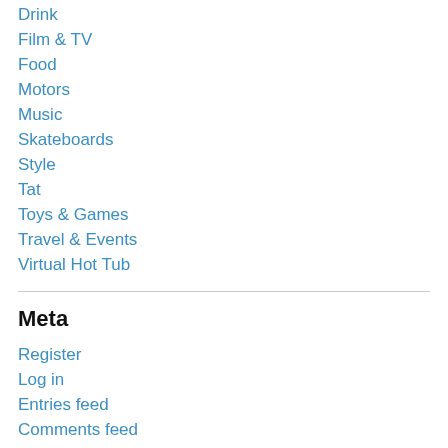Drink
Film & TV
Food
Motors
Music
Skateboards
Style
Tat
Toys & Games
Travel & Events
Virtual Hot Tub
Meta
Register
Log in
Entries feed
Comments feed
WordPress.com